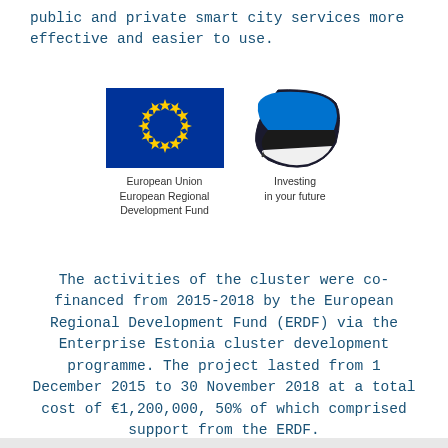public and private smart city services more effective and easier to use.
[Figure (logo): European Union European Regional Development Fund logo (EU flag with gold stars on blue background) and Estonia flag wave logo with text 'Investing in your future']
European Union European Regional Development Fund
Investing in your future
The activities of the cluster were co-financed from 2015-2018 by the European Regional Development Fund (ERDF) via the Enterprise Estonia cluster development programme. The project lasted from 1 December 2015 to 30 November 2018 at a total cost of €1,200,000, 50% of which comprised support from the ERDF.